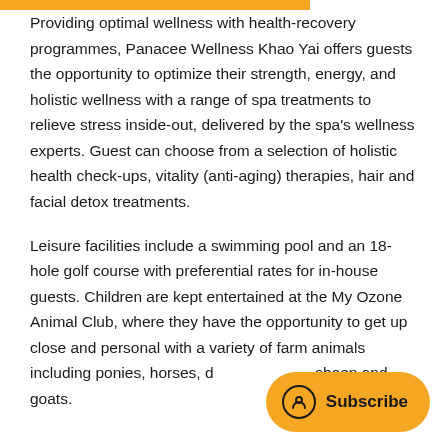Providing optimal wellness with health-recovery programmes, Panacee Wellness Khao Yai offers guests the opportunity to optimize their strength, energy, and holistic wellness with a range of spa treatments to relieve stress inside-out, delivered by the spa's wellness experts. Guest can choose from a selection of holistic health check-ups, vitality (anti-aging) therapies, hair and facial detox treatments.
Leisure facilities include a swimming pool and an 18-hole golf course with preferential rates for in-house guests. Children are kept entertained at the My Ozone Animal Club, where they have the opportunity to get up close and personal with a variety of farm animals including ponies, horses, d... sheep and goats.